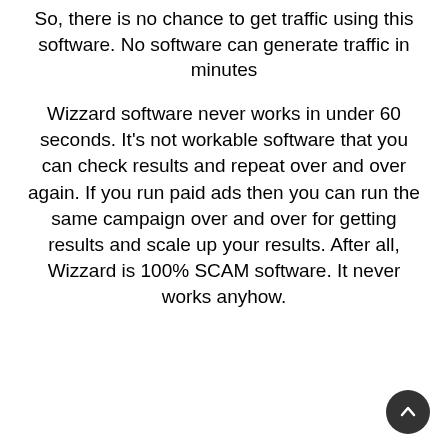So, there is no chance to get traffic using this software. No software can generate traffic in minutes
Wizzard software never works in under 60 seconds. It's not workable software that you can check results and repeat over and over again. If you run paid ads then you can run the same campaign over and over for getting results and scale up your results. After all, Wizzard is 100% SCAM software. It never works anyhow.